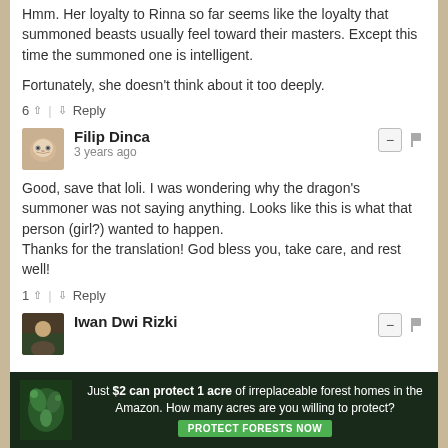Hmm. Her loyalty to Rinna so far seems like the loyalty that summoned beasts usually feel toward their masters. Except this time the summoned one is intelligent.

Fortunately, she doesn't think about it too deeply.
6 ^ | v Reply
Filip Dinca
3 years ago
Good, save that loli. I was wondering why the dragon's summoner was not saying anything. Looks like this is what that person (girl?) wanted to happen.
Thanks for the translation! God bless you, take care, and rest well!
1 ^ | v Reply
Iwan Dwi Rizki
Just $2 can protect 1 acre of irreplaceable forest homes in the Amazon. How many acres are you willing to protect? PROTECT FORESTS NOW